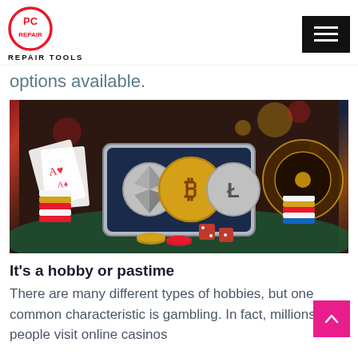PC REPAIR TOOLS
options available.
[Figure (photo): Casino themed image showing cryptocurrency coins (Bitcoin, Ethereum, Litecoin) on a smartphone screen, surrounded by playing cards, poker chips in various colors, dice, and a roulette wheel in the background.]
It’s a hobby or pastime
There are many different types of hobbies, but one common characteristic is gambling. In fact, millions of people visit online casinos